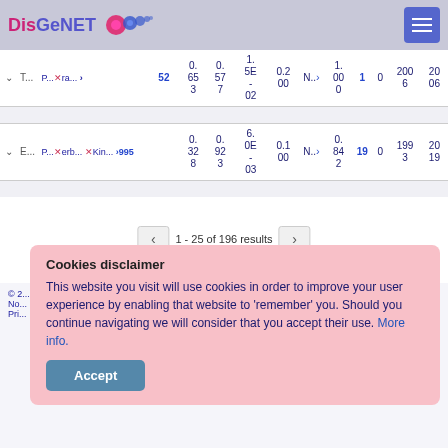DisGeNET
| v T... | P... xra... > | 52 | 0. 65 3 | 0. 57 7 | 1. 5E - 02 | 0.2 00 | N.. | 1. 00 0 | 1 | 0 | 200 6 | 20 06 |
| v E... | P... erb... Kin... >995 |  | 0. 32 8 | 0. 92 3 | 6. 0E - 03 | 0.1 00 | N.. | 0. 84 2 | 19 | 0 | 199 3 | 20 19 |
1 - 25 of 196 results
Cookies disclaimer

This website you visit will use cookies in order to improve your user experience by enabling that website to ‘remember’ you. Should you continue navigating we will consider that you accept their use. More info.

Accept